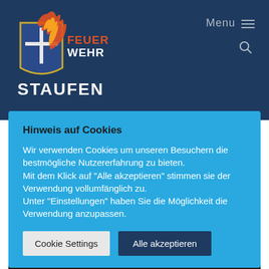Menu
[Figure (logo): Feuerwehr Staufen logo with shield emblem and flame]
Hinweis auf Cookies
Wir verwenden Cookies um unseren Besuchern die bestmögliche Nutzererfahrung zu bieten. Mit dem Klick auf "Alle akzeptieren" stimmen sie der Verwendung vollumfänglich zu. Unter "Einstellungen" haben Sie die Möglichkeit die Verwendung anzupassen.
Cookie Settings
Alle akzeptieren
[Figure (photo): Night photo of Feuerwehr Staufen fire station with illuminated garage bays and fire trucks visible]